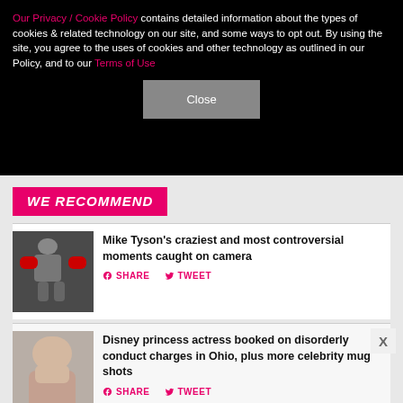Our Privacy / Cookie Policy contains detailed information about the types of cookies & related technology on our site, and some ways to opt out. By using the site, you agree to the uses of cookies and other technology as outlined in our Policy, and to our Terms of Use
Close
WE RECOMMEND
Mike Tyson's craziest and most controversial moments caught on camera
SHARE   TWEET
Disney princess actress booked on disorderly conduct charges in Ohio, plus more celebrity mug shots
SHARE   TWEET